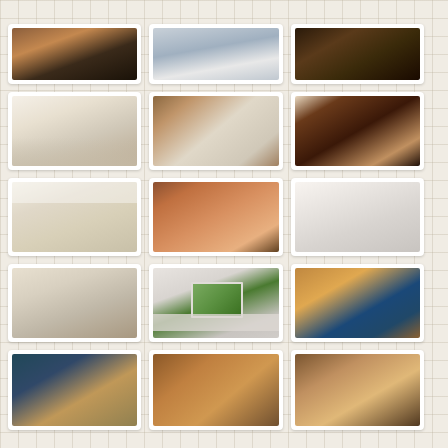[Figure (photo): Grid of 12 kitchen interior photographs arranged in 4 rows of 3 columns, showing various kitchen remodel designs including white kitchens, wood-toned kitchens, and a kitchen with blue tile backsplash]
[Figure (photo): Dark kitchen with bar stools and warm wood tones - partially visible at top]
[Figure (photo): Modern kitchen with gray/blue cabinets and stainless appliances - partially visible at top]
[Figure (photo): Dark entertainment bar area with circular architectural details - partially visible at top]
[Figure (photo): White kitchen with dark countertops, island, and large window]
[Figure (photo): Close-up of farmhouse sink with granite surround and black faucet]
[Figure (photo): Open kitchen with rich wood tones, large island with bar seating]
[Figure (photo): Open bright kitchen with light wood floors and white/cream cabinets]
[Figure (photo): Rustic kitchen with wood-paneled ceiling and white appliances]
[Figure (photo): Modern white kitchen with pendant lights and island with bar stools]
[Figure (photo): Kitchen with light wood floors and mixed white and wood cabinets]
[Figure (photo): Kitchen corner with window and light gray shaker cabinets]
[Figure (photo): Kitchen with blue tile backsplash and warm wood cabinets]
[Figure (photo): Kitchen with dark ceiling and dark wood tones - partially visible at bottom]
[Figure (photo): Kitchen with warm wood tones and pendant lighting - partially visible at bottom]
[Figure (photo): Kitchen with wood ceiling beams and open shelving - partially visible at bottom]